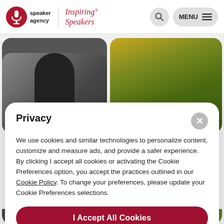speaker agency | Inspiring® Speakers
[Figure (screenshot): Two rounded thumbnail images: left shows a black-and-white portrait photo, right shows a green textured plant/nature image]
Privacy
We use cookies and similar technologies to personalize content, customize and measure ads, and provide a safer experience. By clicking I accept all cookies or activating the Cookie Preferences option, you accept the practices outlined in our Cookie Policy. To change your preferences, please update your Cookie Preferences selections.